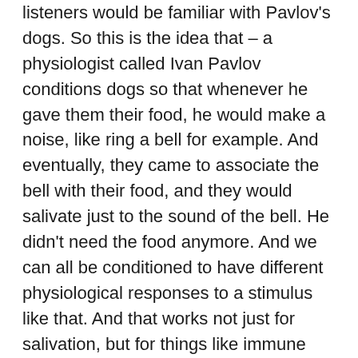listeners would be familiar with Pavlov's dogs. So this is the idea that – a physiologist called Ivan Pavlov conditions dogs so that whenever he gave them their food, he would make a noise, like ring a bell for example. And eventually, they came to associate the bell with their food, and they would salivate just to the sound of the bell. He didn't need the food anymore. And we can all be conditioned to have different physiological responses to a stimulus like that. And that works not just for salivation, but for things like immune responses. So for example, if you take a pill that suppresses your immune system, then later on if you take a similar-looking placebo pill, even if there's no actual active drug in there, your body will mimic that same response. It's like you – your body has learned that response. And that just happens automatically. It doesn't matter what you believe about the pill. So those are just two examples of